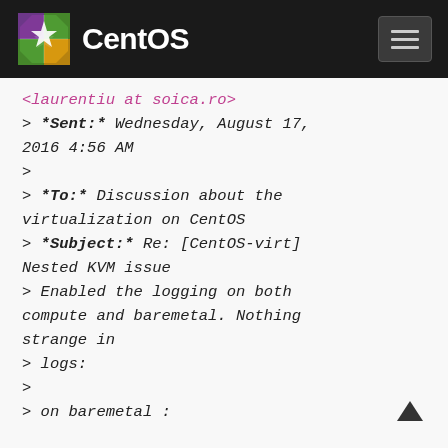CentOS
<laurentiu at soica.ro>
> *Sent:* Wednesday, August 17, 2016 4:56 AM
>
> *To:* Discussion about the virtualization on CentOS
> *Subject:* Re: [CentOS-virt] Nested KVM issue
> Enabled the logging on both compute and baremetal. Nothing strange in
> logs:
>
> on baremetal :